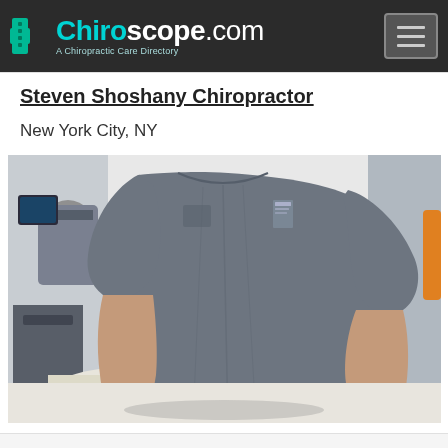Chiroscope.com — A Chiropractic Care Directory
Steven Shoshany Chiropractor
New York City, NY
[Figure (photo): A chiropractor in gray scrubs performing a spinal adjustment on a patient in a clinical setting with medical equipment visible in the background.]